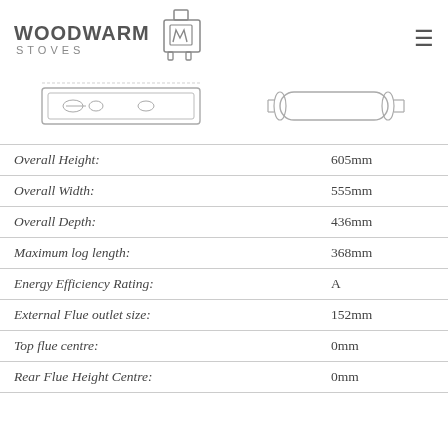[Figure (logo): Woodwarm Stoves logo with stove icon]
[Figure (engineering-diagram): Two engineering diagrams of a wood-burning stove: front/top view and side view]
| Specification | Value |
| --- | --- |
| Overall Height: | 605mm |
| Overall Width: | 555mm |
| Overall Depth: | 436mm |
| Maximum log length: | 368mm |
| Energy Efficiency Rating: | A |
| External Flue outlet size: | 152mm |
| Top flue centre: | 0mm |
| Rear Flue Height Centre: | 0mm |